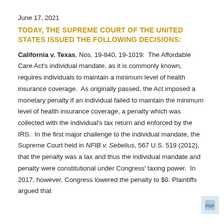June 17, 2021
TODAY, THE SUPREME COURT OF THE UNITED STATES ISSUED THE FOLLOWING DECISIONS:
California v. Texas, Nos. 19-840, 19-1019: The Affordable Care Act's individual mandate, as it is commonly known, requires individuals to maintain a minimum level of health insurance coverage. As originally passed, the Act imposed a monetary penalty if an individual failed to maintain the minimum level of health insurance coverage, a penalty which was collected with the individual's tax return and enforced by the IRS. In the first major challenge to the individual mandate, the Supreme Court held in NFIB v. Sebelius, 567 U.S. 519 (2012), that the penalty was a tax and thus the individual mandate and penalty were constitutional under Congress' taxing power. In 2017, however, Congress lowered the penalty to $0. Plaintiffs argued that …